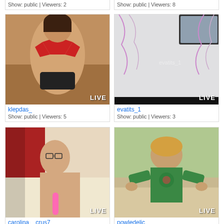[Figure (screenshot): Partial top cards showing Show: public | Viewers: 2 and Show: public | Viewers: 8]
Show: public | Viewers: 2
Show: public | Viewers: 8
[Figure (photo): Live webcam thumbnail of klepdas_ wearing red bikini top]
klepdas_
Show: public | Viewers: 5
[Figure (photo): Live webcam thumbnail of evatits_1 in empty room with streamers]
evatits_1
Show: public | Viewers: 3
[Figure (photo): Live webcam thumbnail of carolina__crus7]
carolina__crus7
Show: public | Viewers: 7
[Figure (photo): Live webcam thumbnail of powledelic in green shirt]
powledelic
Show: public | Viewers: 3
[Figure (screenshot): Partial bottom thumbnails cut off]